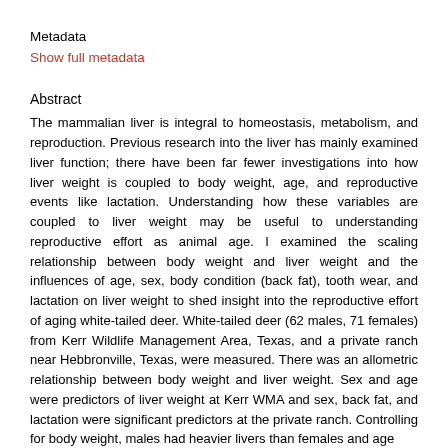Metadata
Show full metadata
Abstract
The mammalian liver is integral to homeostasis, metabolism, and reproduction. Previous research into the liver has mainly examined liver function; there have been far fewer investigations into how liver weight is coupled to body weight, age, and reproductive events like lactation. Understanding how these variables are coupled to liver weight may be useful to understanding reproductive effort as animal age. I examined the scaling relationship between body weight and liver weight and the influences of age, sex, body condition (back fat), tooth wear, and lactation on liver weight to shed insight into the reproductive effort of aging white-tailed deer. White-tailed deer (62 males, 71 females) from Kerr Wildlife Management Area, Texas, and a private ranch near Hebbronville, Texas, were measured. There was an allometric relationship between body weight and liver weight. Sex and age were predictors of liver weight at Kerr WMA and sex, back fat, and lactation were significant predictors at the private ranch. Controlling for body weight, males had heavier livers than females and age